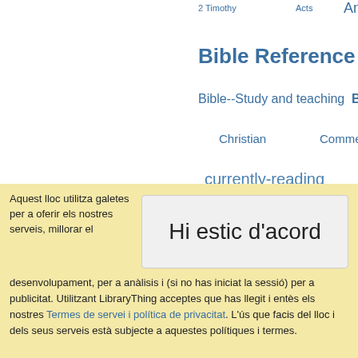[Figure (infographic): Tag cloud of Bible-related categories including '2 Timothy', 'Acts', 'Antic Te...', 'Bible Reference', 'Bible--Study and teaching', 'B...', 'Christian', 'Commen...', 'currently-reading', 'Estudis bíblics', 'es...', 'Goodreads', 'Isaiah', 'N...' in various font sizes in blue color on white background]
Aquest lloc utilitza galetes per a oferir els nostres serveis, millorar el desenvolupament, per a anàlisis i (si no has iniciat la sessió) per a publicitat. Utilitzant LibraryThing acceptes que has llegit i entès els nostres Termes de servei i política de privacitat. L'ús que facis del lloc i dels seus serveis està subjecte a aquestes polítiques i termes.
Hi estic d'acord